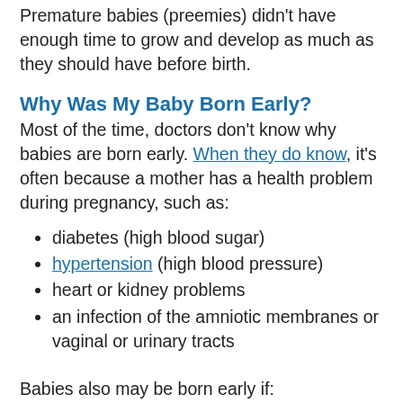Premature babies (preemies) didn't have enough time to grow and develop as much as they should have before birth.
Why Was My Baby Born Early?
Most of the time, doctors don't know why babies are born early. When they do know, it's often because a mother has a health problem during pregnancy, such as:
diabetes (high blood sugar)
hypertension (high blood pressure)
heart or kidney problems
an infection of the amniotic membranes or vaginal or urinary tracts
Babies also may be born early if: